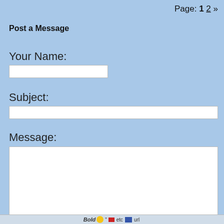Page: 1 2 »
Post a Message
Your Name:
Subject:
Message: